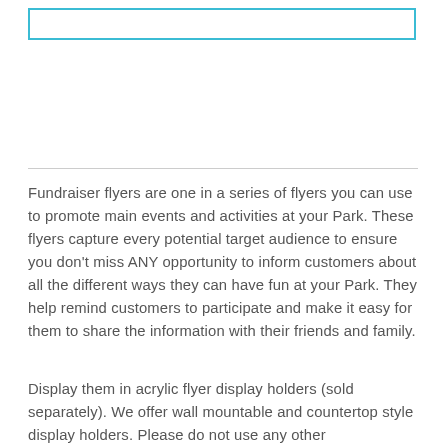[Figure (other): A rectangular box with a cyan/teal border at the top of the page]
Fundraiser flyers are one in a series of flyers you can use to promote main events and activities at your Park. These flyers capture every potential target audience to ensure you don't miss ANY opportunity to inform customers about all the different ways they can have fun at your Park. They help remind customers to participate and make it easy for them to share the information with their friends and family.
Display them in acrylic flyer display holders (sold separately). We offer wall mountable and countertop style display holders. Please do not use any other